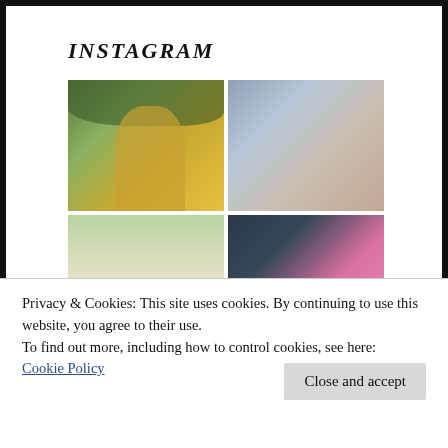INSTAGRAM
[Figure (photo): 2x2 grid of Instagram photos: top-left shows a woman in a yellow dress standing outdoors near a tree and stone wall; top-right shows a woman in a blue floral dress sitting at a cafe table with a pink handbag and framed artwork on the wall; bottom-left shows a classical domed building (like a capitol or colosseum) with columns; bottom-right shows a woman with red hair holding pink flowers in front of a building.]
Privacy & Cookies: This site uses cookies. By continuing to use this website, you agree to their use.
To find out more, including how to control cookies, see here: Cookie Policy
Close and accept